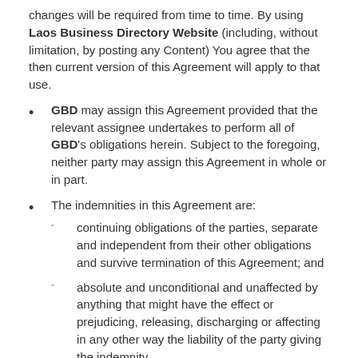changes will be required from time to time. By using Laos Business Directory Website (including, without limitation, by posting any Content) You agree that the then current version of this Agreement will apply to that use.
GBD may assign this Agreement provided that the relevant assignee undertakes to perform all of GBD's obligations herein. Subject to the foregoing, neither party may assign this Agreement in whole or in part.
The indemnities in this Agreement are:
continuing obligations of the parties, separate and independent from their other obligations and survive termination of this Agreement; and
absolute and unconditional and unaffected by anything that might have the effect or prejudicing, releasing, discharging or affecting in any other way the liability of the party giving the indemnity.